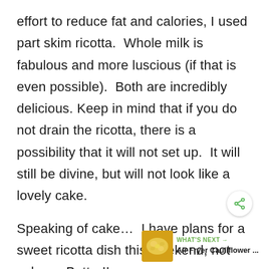effort to reduce fat and calories, I used part skim ricotta.  Whole milk is fabulous and more luscious (if that is even possible).  Both are incredibly delicious.  Keep in mind that if you do not drain the ricotta, there is a possibility that it will not set up.  It will still be divine, but will not look like a lovely cake.
Speaking of cake…  I have plans for a sweet ricotta dish this weekend, not cake…  Better!!
[Figure (infographic): Share button icon (circular white button with green share/network icon)]
[Figure (photo): WHAT'S NEXT -> Air Fryer Cauliflower ... promotional widget with a small food photo thumbnail showing yellow cauliflower dish]